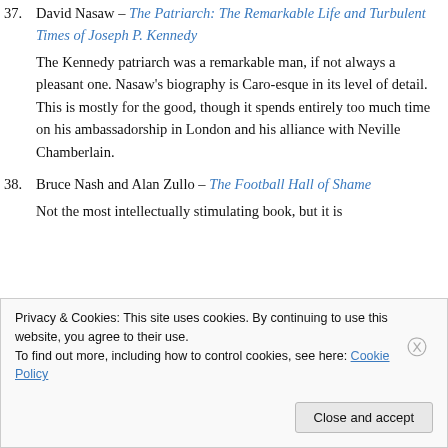37. David Nasaw – The Patriarch: The Remarkable Life and Turbulent Times of Joseph P. Kennedy
The Kennedy patriarch was a remarkable man, if not always a pleasant one. Nasaw's biography is Caro-esque in its level of detail. This is mostly for the good, though it spends entirely too much time on his ambassadorship in London and his alliance with Neville Chamberlain.
38. Bruce Nash and Alan Zullo – The Football Hall of Shame
Not the most intellectually stimulating book, but it is
Privacy & Cookies: This site uses cookies. By continuing to use this website, you agree to their use. To find out more, including how to control cookies, see here: Cookie Policy